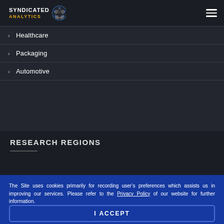Syndicated Analytics
Healthcare
Packaging
Automotive
RESEARCH REGIONS
The Site uses cookies primarily for recording user’s preferences which assists us in improving our services. Please refer to the Privacy Policy of our website for further information.
I ACCEPT